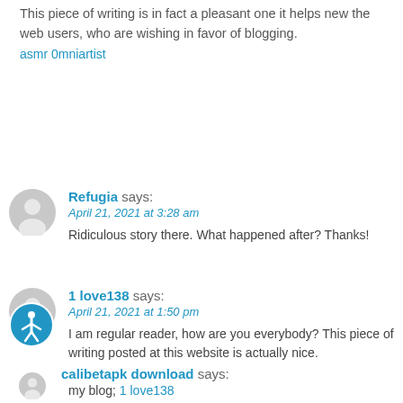This piece of writing is in fact a pleasant one it helps new the web users, who are wishing in favor of blogging.
asmr 0mniartist
Refugia says:
April 21, 2021 at 3:28 am
Ridiculous story there. What happened after? Thanks!
1 love138 says:
April 21, 2021 at 1:50 pm
I am regular reader, how are you everybody? This piece of writing posted at this website is actually nice.
my blog; 1 love138
calibetapk download says: